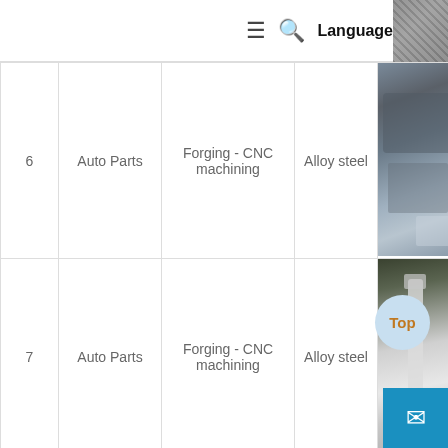≡ 🔍 Language
| # | Category | Process | Material | Image |
| --- | --- | --- | --- | --- |
| 6 | Auto Parts | Forging - CNC machining | Alloy steel | [image] |
| 7 | Auto Parts | Forging - CNC machining | Alloy steel | [image] |